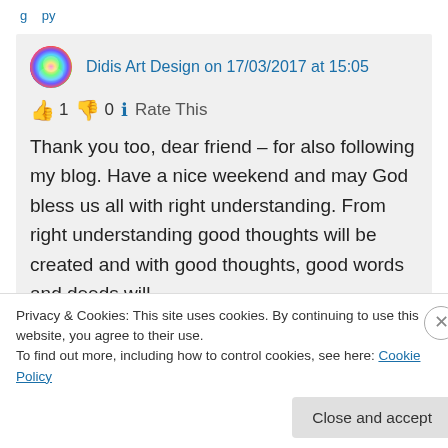Didis Art Design on 17/03/2017 at 15:05
👍 1 👎 0 ℹ Rate This
Thank you too, dear friend – for also following my blog. Have a nice weekend and may God bless us all with right understanding. From right understanding good thoughts will be created and with good thoughts, good words and deeds will
Privacy & Cookies: This site uses cookies. By continuing to use this website, you agree to their use.
To find out more, including how to control cookies, see here: Cookie Policy
Close and accept